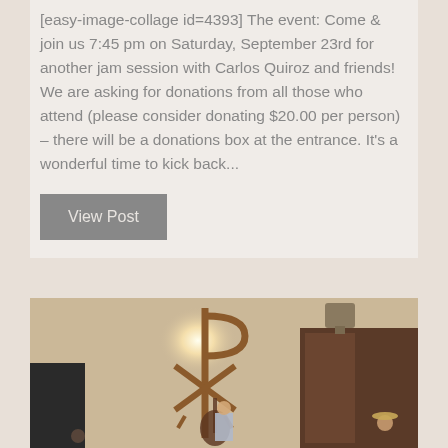[easy-image-collage id=4393] The event: Come & join us 7:45 pm on Saturday, September 23rd for another jam session with Carlos Quiroz and friends! We are asking for donations from all those who attend (please consider donating $20.00 per person) – there will be a donations box at the entrance. It's a wonderful time to kick back...
View Post
[Figure (photo): Photo of a church interior with a large Chi-Rho (Christian symbol) cross/standard, a bright light behind it on the wall, and musicians playing instruments below including what appears to be an upright bass player and other people.]